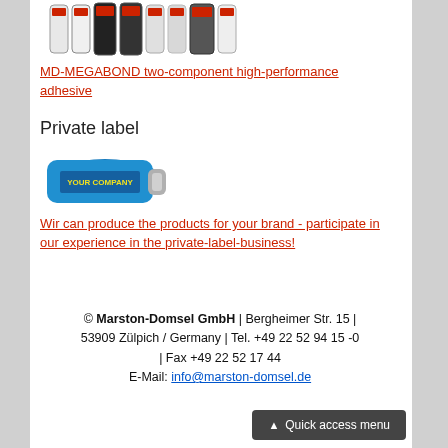[Figure (photo): Product image of MD-MEGABOND two-component adhesive containers/cartridges]
MD-MEGABOND two-component high-performance adhesive
Private label
[Figure (photo): Blue tube with YOUR COMPANY label - private label product illustration]
Wir can produce the products for your brand - participate in our experience in the private-label-business!
© Marston-Domsel GmbH | Bergheimer Str. 15 | 53909 Zülpich / Germany | Tel. +49 22 52 94 15 -0 | Fax +49 22 52 17 44 E-Mail: info@marston-domsel.de